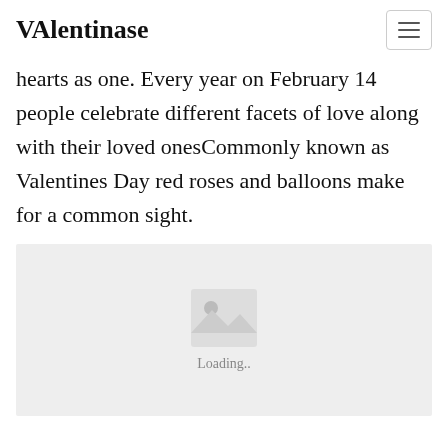VAlentinase
hearts as one. Every year on February 14 people celebrate different facets of love along with their loved onesCommonly known as Valentines Day red roses and balloons make for a common sight.
[Figure (other): Image placeholder with a photo icon and 'Loading..' text on a light grey background]